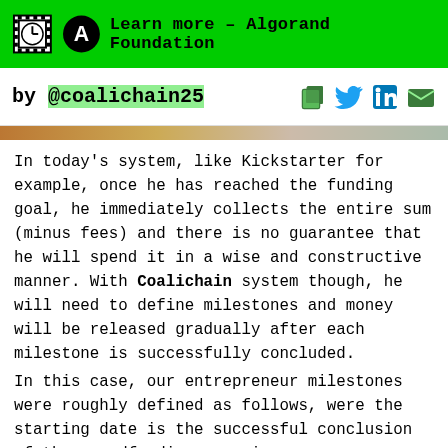Learn more – Algorand Foundation
by @coalichain25
In today's system, like Kickstarter for example, once he has reached the funding goal, he immediately collects the entire sum (minus fees) and there is no guarantee that he will spend it in a wise and constructive manner. With Coalichain system though, he will need to define milestones and money will be released gradually after each milestone is successfully concluded. In this case, our entrepreneur milestones were roughly defined as follows, were the starting date is the successful conclusion of the crowdfunding campaign.
1. Within 40 days
a. Creation of a website